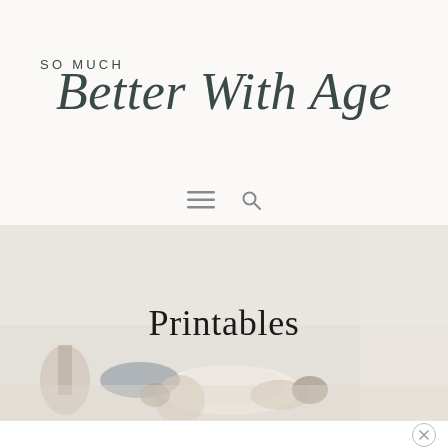SO MUCH Better With Age
[Figure (screenshot): Website header with blog logo 'SO MUCH Better With Age' in mixed typography (sans-serif uppercase for SO MUCH, script font for Better With Age), navigation bar with hamburger menu and search icon, hero banner image showing a food table scene with plates and bowls overlaid with the text 'Printables', and a partially visible bottom bar with close button]
Printables